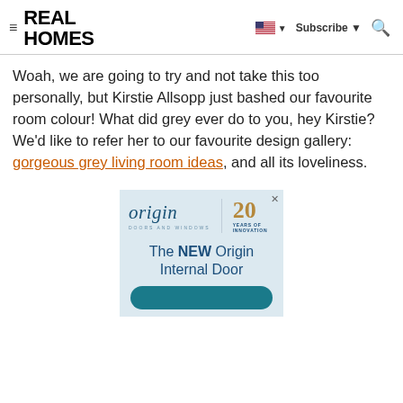REAL HOMES — Subscribe
Woah, we are going to try and not take this too personally, but Kirstie Allsopp just bashed our favourite room colour! What did grey ever do to you, hey Kirstie? We'd like to refer her to our favourite design gallery: gorgeous grey living room ideas, and all its loveliness.
[Figure (screenshot): Origin Doors and Windows advertisement showing 'origin | 20 YEARS OF INNOVATION' logo and text 'The NEW Origin Internal Door' on a light blue background with a teal call-to-action button at the bottom.]